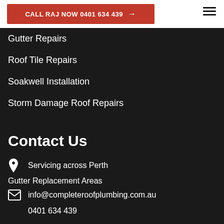CALL RAJ NOW 0401 634 439 →
Gutter Repairs
Roof Tile Repairs
Soakwell Installation
Storm Damage Roof Repairs
Contact Us
Servicing across Perth
Gutter Replacement Areas
info@completeroofplumbing.com.au
0401 634 439